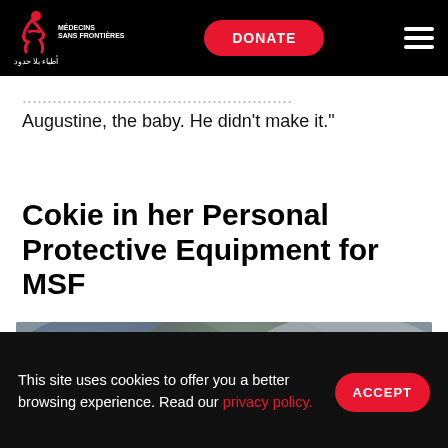MÉDECINS SANS FRONTIÈRES | DONATE | [navigation]
Augustine, the baby. He didn't make it."
Cokie in her Personal Protective Equipment for MSF
[Figure (photo): Blurred/obscured photo, likely of a person in personal protective equipment (PPE), colors are muted greens, blues, and grays]
This site uses cookies to offer you a better browsing experience. Read our privacy policy.